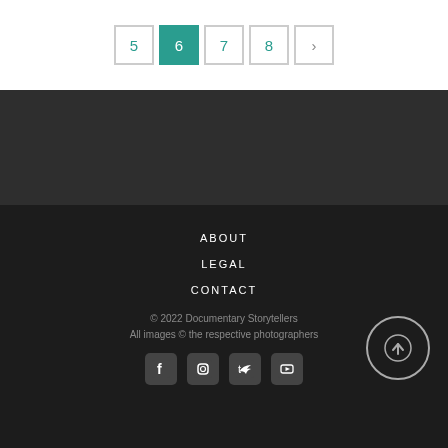[Figure (screenshot): Pagination controls showing page numbers 5, 6 (active/teal), 7, 8, and a next arrow button]
[Figure (screenshot): Dark gray middle section, empty background area]
ABOUT
LEGAL
CONTACT
© 2022 Documentary Storytellers
All images © the respective photographers
[Figure (infographic): Social media icons: Facebook, Instagram, Twitter, YouTube; back-to-top circular arrow button]